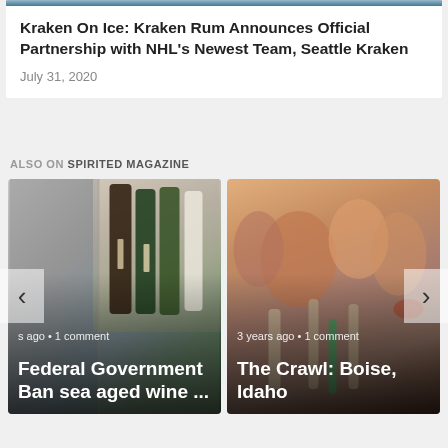[Figure (photo): Top portion of an article image (cropped), dark toned]
Kraken On Ice: Kraken Rum Announces Official Partnership with NHL's Newest Team, Seattle Kraken
July 31, 2020
ALSO ON SPIRITED MAGAZINE
[Figure (photo): Federal Government Ban sea aged wine ... — card image showing wine bottles and packaging, 3 years ago • 1 comment]
[Figure (photo): The Crawl: Boise, Idaho — card image showing people toasting at a bar/restaurant, 3 years ago • 1 comment]